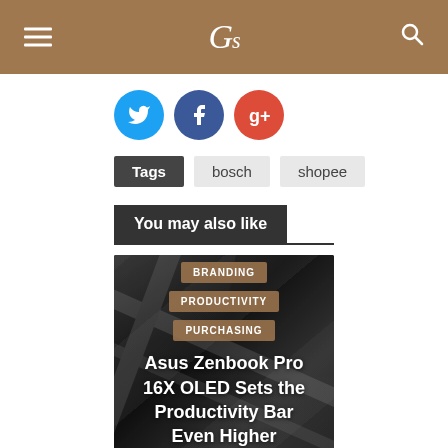Gs
[Figure (illustration): Social share buttons: Twitter (blue circle), Facebook (dark blue circle), Google+ (red circle)]
Tags   bosch   shopee
You may also like
[Figure (photo): Dark background image of a laptop (Asus Zenbook Pro 16X OLED) with overlay tags BRANDING, PRODUCTIVITY, PURCHASING and title text 'Asus Zenbook Pro 16X OLED Sets the Productivity Bar Even Higher' and '1 week ago']